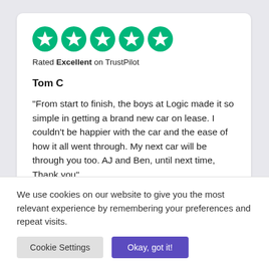[Figure (illustration): Five green circle star rating icons from TrustPilot]
Rated Excellent on TrustPilot
Tom C
"From start to finish, the boys at Logic made it so simple in getting a brand new car on lease. I couldn't be happier with the car and the ease of how it all went through. My next car will be through you too. AJ and Ben, until next time, Thank you"
We use cookies on our website to give you the most relevant experience by remembering your preferences and repeat visits.
Cookie Settings
Okay, got it!